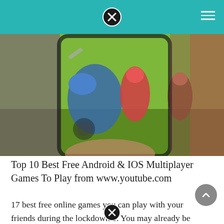[Figure (photo): A hand holding a smartphone displaying a colorful mobile multiplayer game with characters in a green field]
Top 10 Best Free Android & IOS Multiplayer Games To Play from www.youtube.com
17 best free online games you can play with your friends during the lockdown 1. You may already be familiar with popular mobile games that you can play with friends anytime. Words with friends